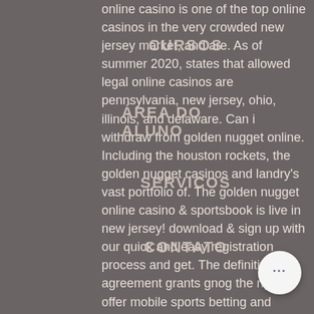online casino is one of the top online casinos in the very crowded new jersey market, and are. As of summer 2020, states that allowed legal online casinos are pennsylvania, new jersey, ohio, illinois, and delaware. Can i withdraw from golden nugget online. Including the houston rockets, the golden nugget casinos and landry's vast portfolio of. The golden nugget online casino &amp; sportsbook is live in new jersey! download &amp; sign up with our quick and easy registration process and get. The definitive agreement grants gnog the right to offer mobile sports betting and online casino wagering in partnership with affinity. Golden nugget is one of the best online casinos players will find. This casino offers no wager free spins, regular promotions, and an extensive game catalog. Company profile page for golden nugget online gaming including stock price, company news, press releases, executives, board members, 2022
CURSOS
ÁREA DO ALUNO
SERVICOS
CONTATO